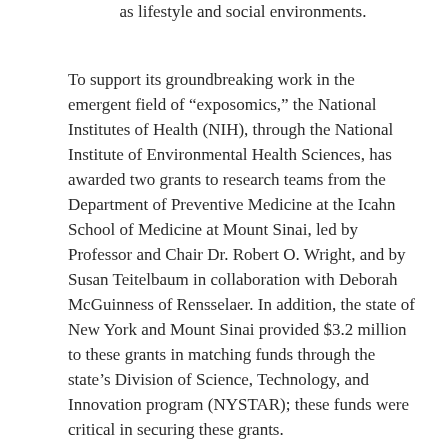as lifestyle and social environments.
To support its groundbreaking work in the emergent field of “exposomics,” the National Institutes of Health (NIH), through the National Institute of Environmental Health Sciences, has awarded two grants to research teams from the Department of Preventive Medicine at the Icahn School of Medicine at Mount Sinai, led by Professor and Chair Dr. Robert O. Wright, and by Susan Teitelbaum in collaboration with Deborah McGuinness of Rensselaer. In addition, the state of New York and Mount Sinai provided $3.2 million to these grants in matching funds through the state’s Division of Science, Technology, and Innovation program (NYSTAR); these funds were critical in securing these grants.